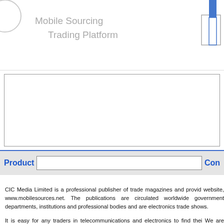Mobile Sourcing Trading Platform
[Figure (other): Banner/advertisement box placeholder area with border]
Product   Con
CIC Media Limited is a professional publisher of trade magazines and provides website, www.mobilesources.net. The publications are circulated worldwide government departments, institutions and professional bodies and are electronics trade shows.

It is easy for any traders in telecommunications and electronics to find their We are enthusiastic players in these sectors, worked on locating market tre now!